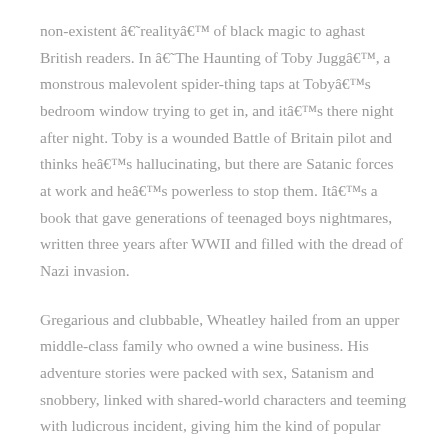non-existent â€˜realityâ€™ of black magic to aghast British readers. In â€˜The Haunting of Toby Juggâ€™, a monstrous malevolent spider-thing taps at Tobyâ€™s bedroom window trying to get in, and itâ€™s there night after night. Toby is a wounded Battle of Britain pilot and thinks heâ€™s hallucinating, but there are Satanic forces at work and heâ€™s powerless to stop them. Itâ€™s a book that gave generations of teenaged boys nightmares, written three years after WWII and filled with the dread of Nazi invasion.
Gregarious and clubbable, Wheatley hailed from an upper middle-class family who owned a wine business. His adventure stories were packed with sex, Satanism and snobbery, linked with shared-world characters and teeming with ludicrous incident, giving him the kind of popular appeal Ian Fleming enjoyed. He was drawn to creating titled heroes in the grand traditional vein, like Gregory Sallust, â€˜The man the Nazis couldnâ€™t kill!â€™, but his fantastical novels were less stiff-